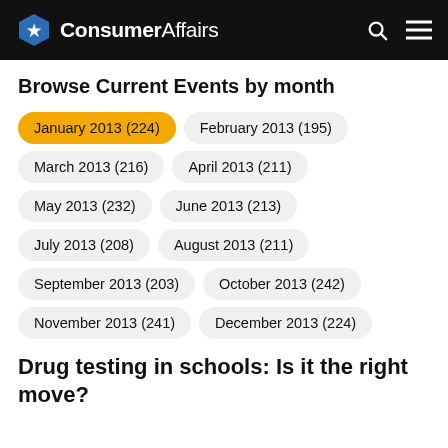ConsumerAffairs
Browse Current Events by month
January 2013 (224)
February 2013 (195)
March 2013 (216)
April 2013 (211)
May 2013 (232)
June 2013 (213)
July 2013 (208)
August 2013 (211)
September 2013 (203)
October 2013 (242)
November 2013 (241)
December 2013 (224)
Drug testing in schools: Is it the right move?